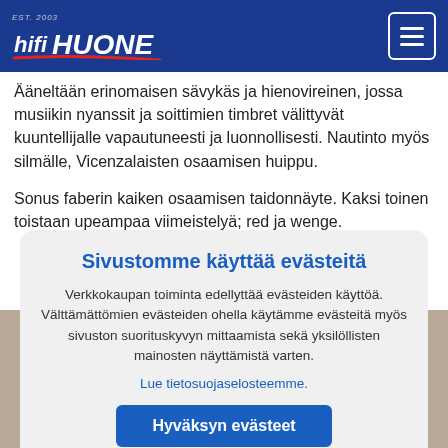HifiHUONE
Ääneltään erinomaisen sävykäs ja hienovireinen, jossa musiikin nyanssit ja soittimien timbret välittyvät kuuntellijalle vapautuneesti ja luonnollisesti. Nautinto myös silmälle, Vicenzalaisten osaamisen huippu.
Sonus faberin kaiken osaamisen taidonnäyte. Kaksi toinen toistaan upeampaa viimeistelyä; red ja wenge.
Sivustomme käyttää evästeitä
Verkkokaupan toiminta edellyttää evästeiden käyttöä. Välttämättömien evästeiden ohella käytämme evästeitä myös sivuston suorituskyvyn mittaamista sekä yksilöllisten mainosten näyttämistä varten.
Lue tietosuojaselosteemme.
Hyväksyn evästeet